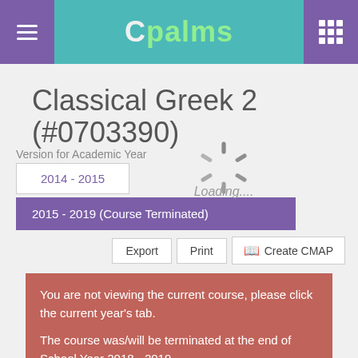CPALMS
Classical Greek 2 (#0703390)
Version for Academic Year
2014 - 2015
2015 - 2019 (Course Terminated)
[Figure (other): Loading spinner with text 'Loading....']
Export  Print  Create CMAP
You are not viewing the current course, please click the current year's tab.

The course was/will be terminated at the end of School Year 2018 - 2019